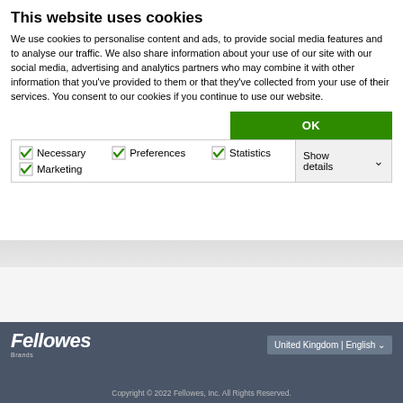This website uses cookies
We use cookies to personalise content and ads, to provide social media features and to analyse our traffic. We also share information about your use of our site with our social media, advertising and analytics partners who may combine it with other information that you've provided to them or that they've collected from your use of their services. You consent to our cookies if you continue to use our website.
OK
✓ Necessary  ✓ Preferences  ✓ Statistics  ✓ Marketing  Show details
Fellowes Brands  United Kingdom | English  Copyright © 2022 Fellowes, Inc. All Rights Reserved.